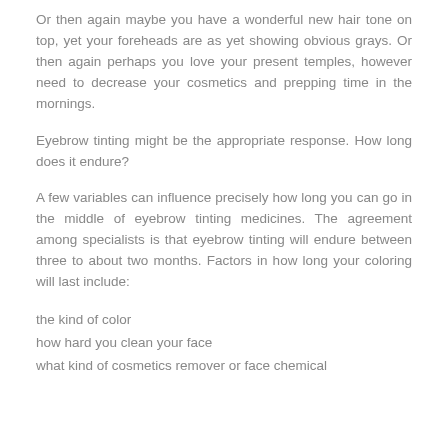Or then again maybe you have a wonderful new hair tone on top, yet your foreheads are as yet showing obvious grays. Or then again perhaps you love your present temples, however need to decrease your cosmetics and prepping time in the mornings.
Eyebrow tinting might be the appropriate response. How long does it endure?
A few variables can influence precisely how long you can go in the middle of eyebrow tinting medicines. The agreement among specialists is that eyebrow tinting will endure between three to about two months. Factors in how long your coloring will last include:
the kind of color
how hard you clean your face
what kind of cosmetics remover or face chemical